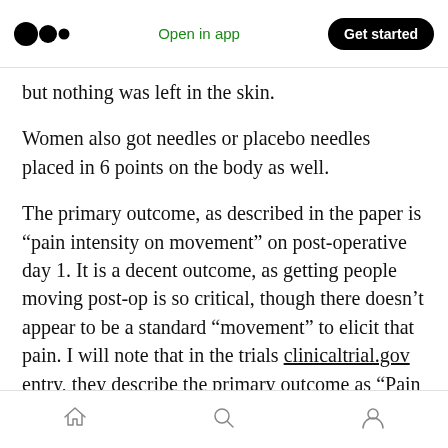Medium logo | Open in app | Get started
but nothing was left in the skin.
Women also got needles or placebo needles placed in 6 points on the body as well.
The primary outcome, as described in the paper is “pain intensity on movement” on post-operative day 1. It is a decent outcome, as getting people moving post-op is so critical, though there doesn’t appear to be a standard “movement” to elicit that pain. I will note that in the trials clinicaltrial.gov entry, they describe the primary outcome as “Pain intensity as measured by
Home | Search | Profile